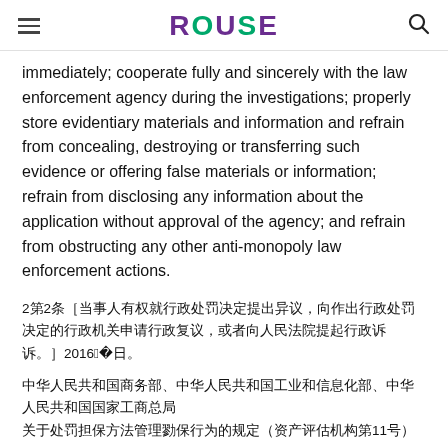ROUSE (logo)
immediately; cooperate fully and sincerely with the law enforcement agency during the investigations; properly store evidentiary materials and information and refrain from concealing, destroying or transferring such evidence or offering false materials or information; refrain from disclosing any information about the application without approval of the agency; and refrain from obstructing any other anti-monopoly law enforcement actions.
2第2条 [CJK text] 2016年2月22日。
[CJK text block 1]
[CJK text block 2]
[CJK text block 3]